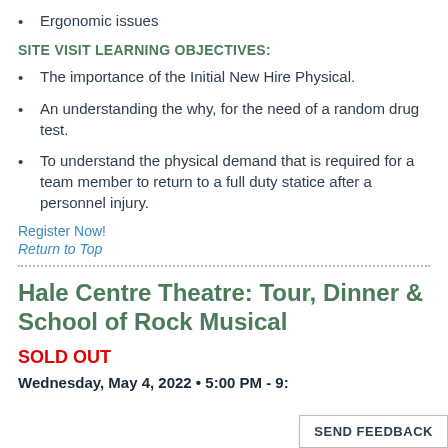Ergonomic issues
SITE VISIT LEARNING OBJECTIVES:
The importance of the Initial New Hire Physical.
An understanding the why, for the need of a random drug test.
To understand the physical demand that is required for a team member to return to a full duty statice after a personnel injury.
Register Now!
Return to Top
Hale Centre Theatre: Tour, Dinner & School of Rock Musical
SOLD OUT
Wednesday, May 4, 2022 • 5:00 PM - 9: